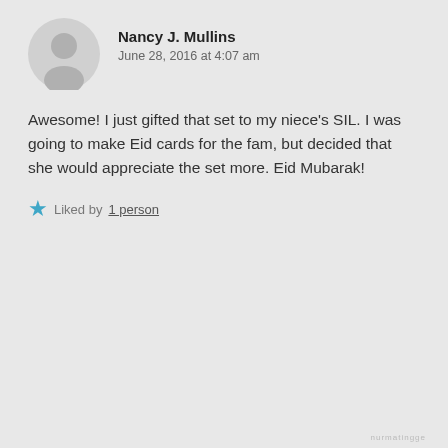Nancy J. Mullins
June 28, 2016 at 4:07 am
Awesome! I just gifted that set to my niece's SIL. I was going to make Eid cards for the fam, but decided that she would appreciate the set more. Eid Mubarak!
★ Liked by 1 person
Privacy & Cookies: This site uses cookies. By continuing to use this website, you agree to their use.
To find out more, including how to control cookies, see here: Cookie Policy
Close and accept